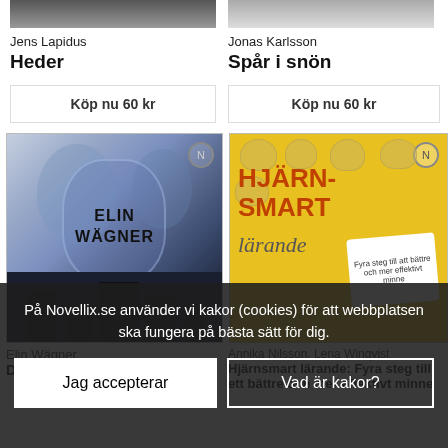[Figure (photo): Book cover image top of Heder cropped]
Jens Lapidus
Heder
Köp nu 60 kr
[Figure (photo): Book cover image top of Spår i snön cropped]
Jonas Karlsson
Spår i snön
Köp nu 60 kr
[Figure (photo): Book cover: De blå silkesstrumporna by Elin Wägner, purple/blue tones with silhouette of buildings]
[Figure (photo): Book cover: Hjärnsmart lärande, yellow cover with brain illustrations]
Elin Wägner
De blå silke...
Annika Nilsson, Lena Winqvist
Hjärnsmart lärande: Fyra steg till ett bättre och mer effektivt minne
På Novellix.se använder vi kakor (cookies) för att webbplatsen ska fungera på bästa sätt för dig.
Jag accepterar
Vad är kakor?